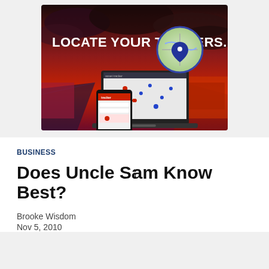[Figure (photo): Advertisement banner showing 'LOCATE YOUR TRAILERS.' text over a red-tinted highway/desert landscape with clouds. A laptop displays a map tracking interface and a smartphone shows a mobile app, with a circular map pin icon in blue and green floating above the devices.]
BUSINESS
Does Uncle Sam Know Best?
Brooke Wisdom
Nov 5, 2010